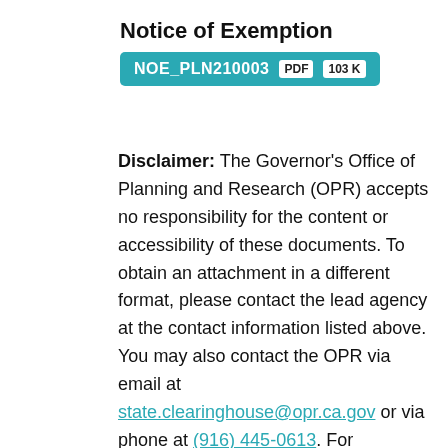Notice of Exemption
NOE_PLN210003  PDF  103K
Disclaimer: The Governor's Office of Planning and Research (OPR) accepts no responsibility for the content or accessibility of these documents. To obtain an attachment in a different format, please contact the lead agency at the contact information listed above. You may also contact the OPR via email at state.clearinghouse@opr.ca.gov or via phone at (916) 445-0613. For